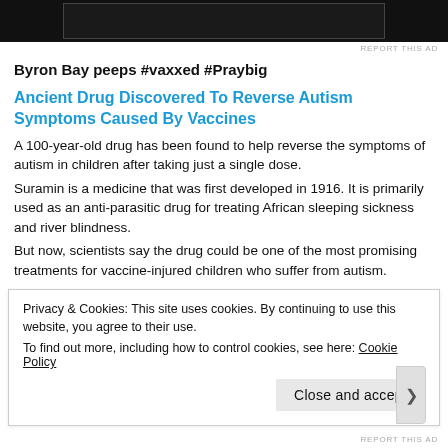[Figure (other): Black advertisement banner at top of page]
REPORT THIS AD
Byron Bay peeps #vaxxed #Praybig
Ancient Drug Discovered To Reverse Autism Symptoms Caused By Vaccines
A 100-year-old drug has been found to help reverse the symptoms of autism in children after taking just a single dose.
Suramin is a medicine that was first developed in 1916. It is primarily used as an anti-parasitic drug for treating African sleeping sickness and river blindness.
But now, scientists say the drug could be one of the most promising treatments for vaccine-injured children who suffer from autism.
Rt.com reports: “After the single dose, it was almost like a roadblock had been released,” he said. “If the future studies show that there’s continued
Privacy & Cookies: This site uses cookies. By continuing to use this website, you agree to their use.
To find out more, including how to control cookies, see here: Cookie Policy
Close and accept